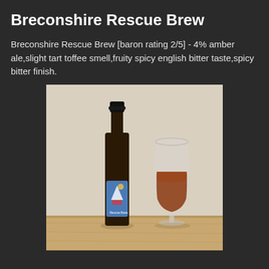Breconshire Rescue Brew
Breconshire Rescue Brew [baron rating 2/5] - 4% amber ale,slight tart toffee smell,fruity spicy english bitter taste,spicy bitter finish.
[Figure (photo): A dark glass bottle of Breconshire Rescue Brew with a colorful label, next to a brandy-style glass filled with amber beer, both sitting on a wooden surface against a light background.]